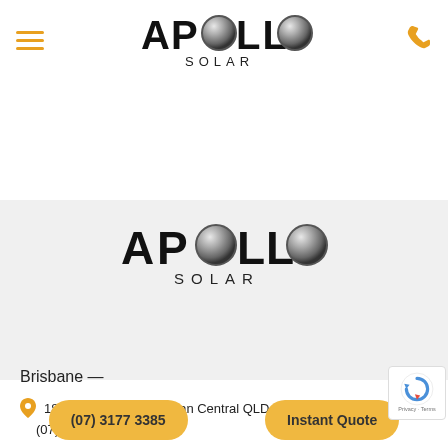[Figure (logo): Apollo Solar logo in navigation bar — APOLLO in large bold font with metallic sphere replacing the O, SOLAR in spaced capitals below]
[Figure (logo): Apollo Solar logo centered on gray band — APOLLO in large bold font with metallic sphere replacing the O, SOLAR in spaced capitals below]
Brisbane —
18/170 North Road Logan Central QLD
(07) 3177 3385
(07) 3177 3395
Instant Quote